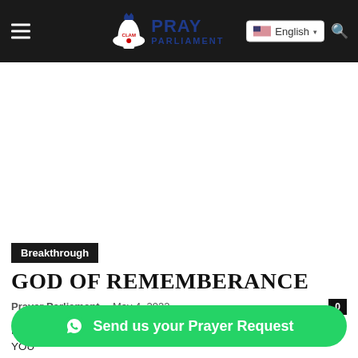Prayer Parliament — English
[Figure (other): White advertisement/blank space area below header]
Breakthrough
GOD OF REMEMBERANCE
Prayer Parliament · May 4, 2022  0
EXHORTATION GOD HAS NOT FORGOTTEN NOR FORSAKEN YOU Isaiah 49:14 hath forsaken me,
[Figure (other): WhatsApp green button: Send us your Prayer Request]